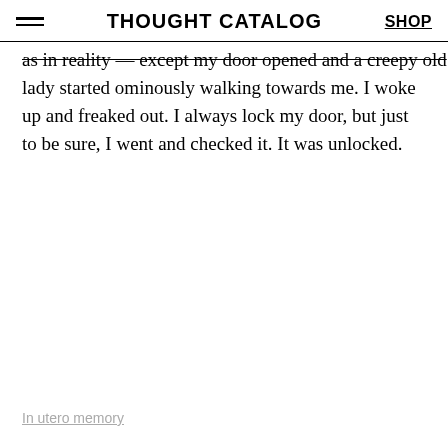THOUGHT CATALOG | SHOP
as in reality — except my door opened and a creepy old lady started ominously walking towards me. I woke up and freaked out. I always lock my door, but just to be sure, I went and checked it. It was unlocked.
In utero memory